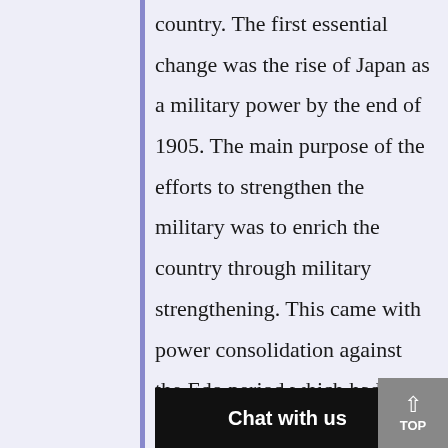country. The first essential change was the rise of Japan as a military power by the end of 1905. The main purpose of the efforts to strengthen the military was to enrich the country through military strengthening. This came with power consolidation against the Edo period which had previously been rampant as the Japanese military gained greater strength. A central government was created in Japan and it operated bureaucratically in place of the Samur...